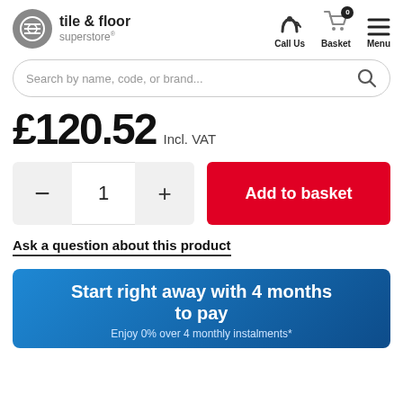[Figure (logo): Tile & Floor Superstore logo with grey circle icon and text]
Search by name, code, or brand...
£120.52 Incl. VAT
- 1 + Add to basket
Ask a question about this product
Start right away with 4 months to pay
Enjoy 0% over 4 monthly instalments*